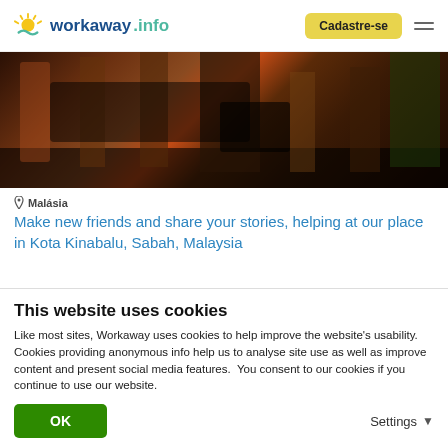workaway.info — Cadastre-se
[Figure (photo): Bar scene photograph showing people seated at a bar, cropped to show lower bodies and legs against dark background]
📍 Malásia
Make new friends and share your stories, helping at our place in Kota Kinabalu, Sabah, Malaysia
[Figure (photo): Outdoor scene with green foliage, heart icon visible in upper right]
This website uses cookies
Like most sites, Workaway uses cookies to help improve the website's usability. Cookies providing anonymous info help us to analyse site use as well as improve content and present social media features.  You consent to our cookies if you continue to use our website.
OK
Settings